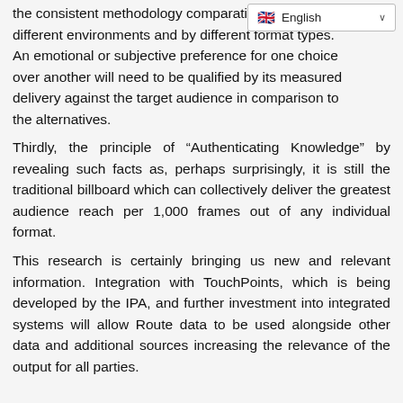the consistent methodology comparative audience impact different environments and by different format types. An emotional or subjective preference for one choice over another will need to be qualified by its measured delivery against the target audience in comparison to the alternatives.
Thirdly, the principle of “Authenticating Knowledge” by revealing such facts as, perhaps surprisingly, it is still the traditional billboard which can collectively deliver the greatest audience reach per 1,000 frames out of any individual format.
This research is certainly bringing us new and relevant information. Integration with TouchPoints, which is being developed by the IPA, and further investment into integrated systems will allow Route data to be used alongside other data and additional sources increasing the relevance of the output for all parties.